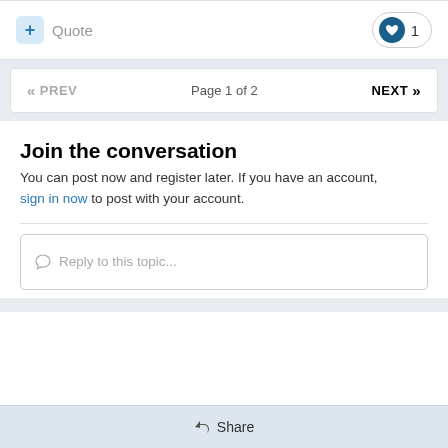+ Quote
❤ 1
« PREV  Page 1 of 2  NEXT »
Join the conversation
You can post now and register later. If you have an account, sign in now to post with your account.
Reply to this topic...
Share